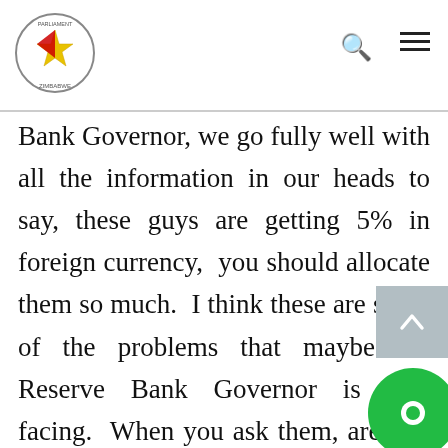Parliament of Zimbabwe
Bank Governor, we go fully well with all the information in our heads to say, these guys are getting 5% in foreign currency,  you should allocate them so much.  I think these are some of the problems that maybe the Reserve Bank Governor is also facing.  When you ask them, are you paying your employees in foreign currency, they would tell you they do not, they just peg allowances in foreign currency and pay in RTCs.  I am not sure whether this is